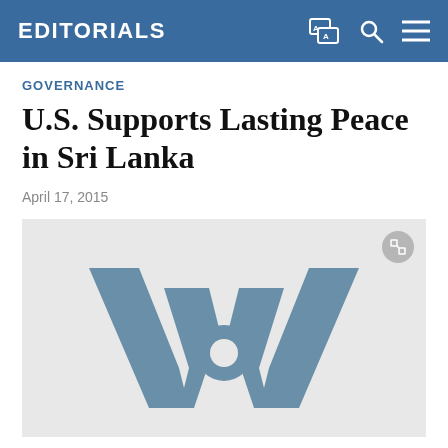EDITORIALS
GOVERNANCE
U.S. Supports Lasting Peace in Sri Lanka
April 17, 2015
[Figure (logo): VOA (Voice of America) logo in dark grey on a light grey background, with a rounded expand icon in the top-right corner.]